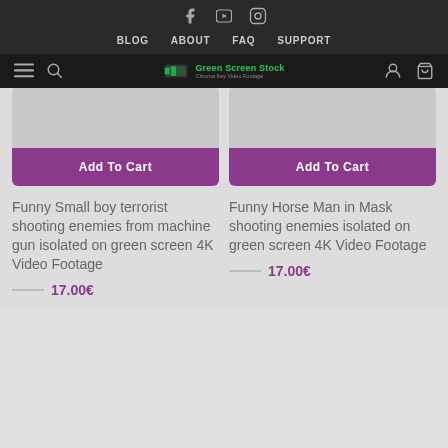Social icons: Facebook, YouTube, Instagram
BLOG  ABOUT  FAQ  SUPPORT
[Figure (logo): Green Screen Stock - Chroma Key Video Footage logo with hamburger menu, search, user, and cart icons]
[Figure (other): Product image placeholder (gray rectangle) with Add To Cart button - Funny Small boy terrorist shooting enemies from machine gun isolated on green screen 4K Video Footage]
Funny Small boy terrorist shooting enemies from machine gun isolated on green screen 4K Video Footage
17.00€
[Figure (other): Product image placeholder (gray rectangle) with Add To Cart button - Funny Horse Man in Mask shooting enemies isolated on green screen 4K Video Footage]
Funny Horse Man in Mask shooting enemies isolated on green screen 4K Video Footage
17.00€